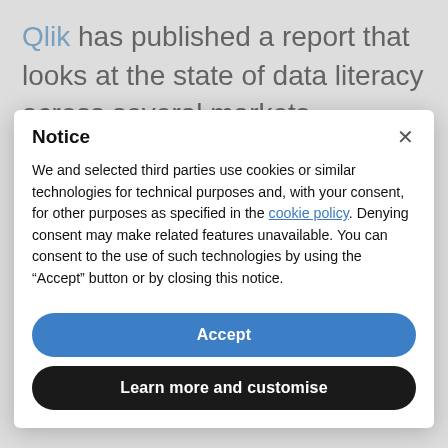Qlik has published a report that looks at the state of data literacy across several markets, including the UK, USA, Germany, France, Japan, Australia and
Notice
We and selected third parties use cookies or similar technologies for technical purposes and, with your consent, for other purposes as specified in the cookie policy. Denying consent may make related features unavailable. You can consent to the use of such technologies by using the “Accept” button or by closing this notice.
Accept
Learn more and customise